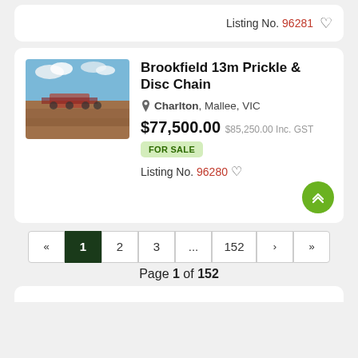Listing No. 96281
Brookfield 13m Prickle & Disc Chain
Charlton, Mallee, VIC
$77,500.00  $85,250.00 Inc. GST
FOR SALE
Listing No. 96280
Page 1 of 152